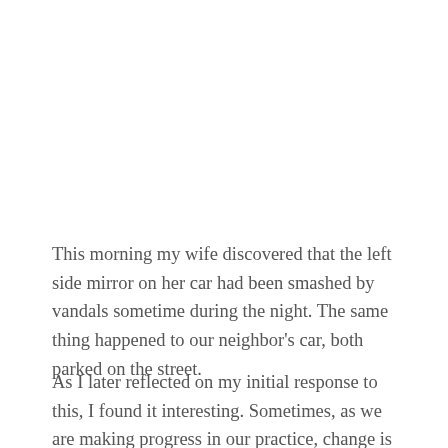This morning my wife discovered that the left side mirror on her car had been smashed by vandals sometime during the night. The same thing happened to our neighbor's car, both parked on the street.
As I later reflected on my initial response to this, I found it interesting. Sometimes, as we are making progress in our practice, change is not noticeable